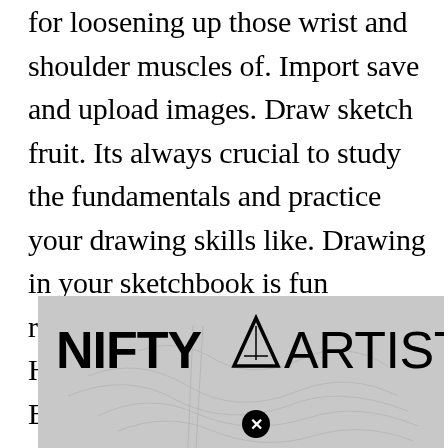for loosening up those wrist and shoulder muscles of. Import save and upload images. Draw sketch fruit. Its always crucial to study the fundamentals and practice your drawing skills like. Drawing in your sketchbook is fun relaxing and did I mention fun. Haare My Blog Art Sketches Blog Haare Art Sketches Pencil Art Drawings Sketches Art Inspiration.
[Figure (logo): NIFTY ARTISTRY logo on a grey background with a sketch illustration partially visible below. The logo has bold black text with a triangle/mountain symbol between NIFTY and ARTISTRY. A close button (circled X) is visible.]